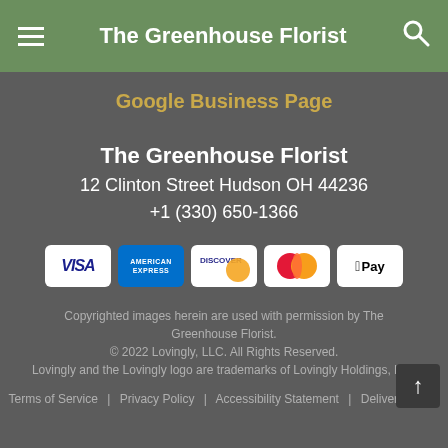The Greenhouse Florist
Google Business Page
The Greenhouse Florist
12 Clinton Street Hudson OH 44236
+1 (330) 650-1366
[Figure (other): Payment method icons: Visa, American Express, Discover, Mastercard, Apple Pay]
Copyrighted images herein are used with permission by The Greenhouse Florist.
© 2022 Lovingly, LLC. All Rights Reserved.
Lovingly and the Lovingly logo are trademarks of Lovingly Holdings, LLC
Terms of Service | Privacy Policy | Accessibility Statement | Delivery Policy